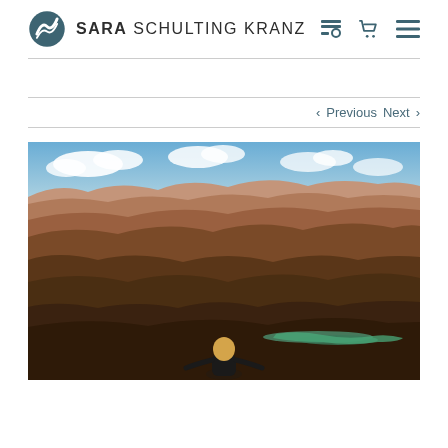SARA SCHULTING KRANZ
< Previous   Next >
[Figure (photo): Woman posing at the Grand Canyon with red rock formations, blue sky with clouds, and a green river (Colorado River) visible far below in the canyon.]